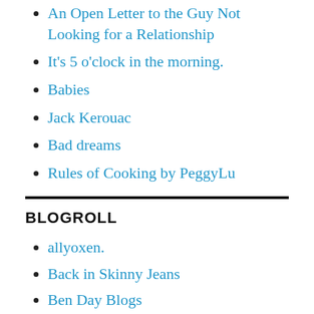An Open Letter to the Guy Not Looking for a Relationship
It's 5 o'clock in the morning.
Babies
Jack Kerouac
Bad dreams
Rules of Cooking by PeggyLu
BLOGROLL
allyoxen.
Back in Skinny Jeans
Ben Day Blogs
Feministe
Feministing.com